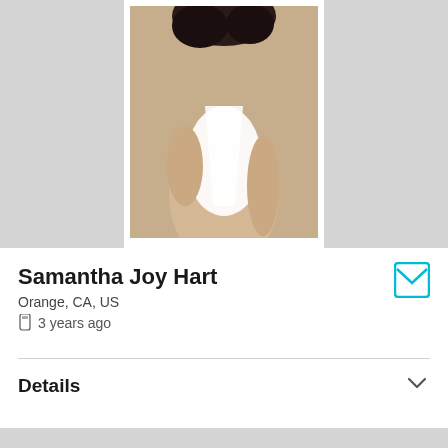[Figure (photo): Profile photo of a person in a white bodysuit against a beige background, shown from mid-torso down, with dark curly hair visible at top. Photo has white border/frame.]
Samantha Joy Hart
Orange, CA, US
3 years ago
Details